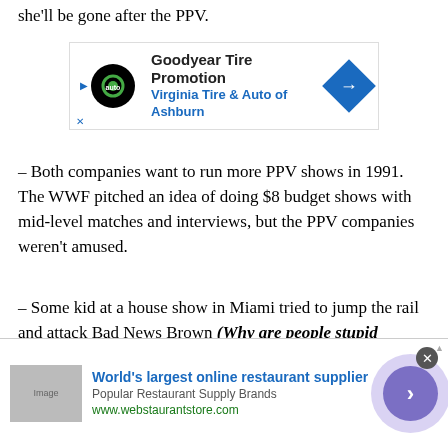she'll be gone after the PPV.
[Figure (other): Goodyear Tire Promotion advertisement banner for Virginia Tire & Auto of Ashburn]
– Both companies want to run more PPV shows in 1991.  The WWF pitched an idea of doing $8 budget shows with mid-level matches and interviews, but the PPV companies weren't amused.
– Some kid at a house show in Miami tried to jump the rail and attack Bad News Brown (Why are people stupid enough to attack Haku and Bad News Brown of all wrestlers?!?)  and supposedly unconscious referee Dave Hebner had to leap to his feet and tackle the fan.
[Figure (other): World's largest online restaurant supplier advertisement for webstaurantstore.com]